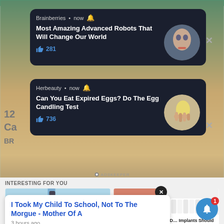[Figure (screenshot): Web browser screenshot showing notification popups and content recommendation widgets. First notification from 'Brainberries' about 'Most Amazing Advanced Robots That Will Change Our World' with 281 likes, featuring a round image of a humanoid robot face. Second notification from 'Herbeauty' about 'Can You Eat Expired Eggs? Do The Egg Candling Test' with 736 likes, featuring a round image of a hand holding an egg. Below, an 'INTERESTING FOR YOU' section with two ad cards for dental implants. A pop-up overlay shows 'I Took My Child To School, Not To The Morgue - Mother Of A' posted 3 hours ago.]